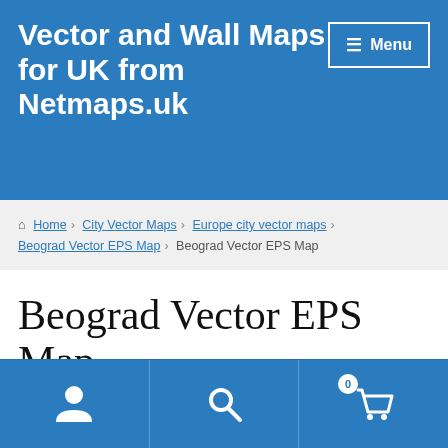Vector and Wall Maps for UK from Netmaps.uk
Home › City Vector Maps › Europe city vector maps › Beograd Vector EPS Map › Beograd Vector EPS Map
Beograd Vector EPS Map